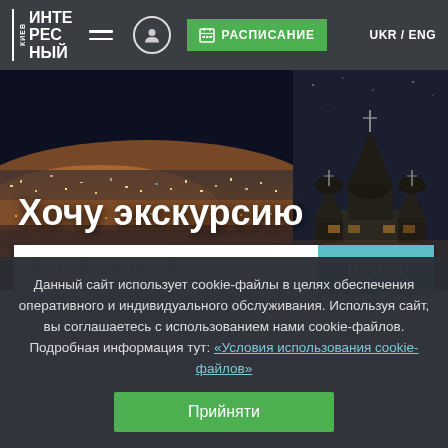КИЕВ | ИНТЕРЕСНЫЙ — навбар с кнопками меню, профиль, РАСПИСАНИЕ, UKR / ENG
[Figure (screenshot): Hero image showing nighttime Kiev cityscape on the left (city lights, orange glow) and church domes on the right (dark blue-toned)]
Хочу экскурсию
по Арсенальной
Например: по Андреевскому спуску
Данный сайт использует cookie-файлы в целях обеспечения оперативного и индивидуального обслуживания. Используя сайт, вы соглашаетесь с использованием нами cookie-файлов. Подробная информация тут: «Условия использования cookie-файлов»
Прийняти